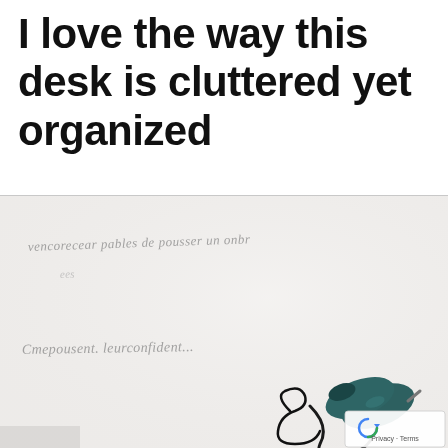I love the way this desk is cluttered yet organized
[Figure (photo): Photo of a white surface or wall with cursive French handwriting text and a dark green desk lamp in the lower right corner. A small Google reCAPTCHA / Privacy-Terms badge appears in the bottom right.]